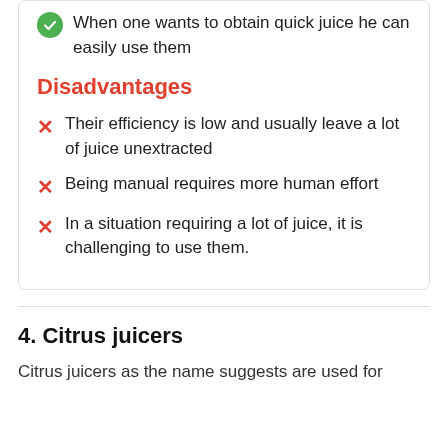When one wants to obtain quick juice he can easily use them
Disadvantages
Their efficiency is low and usually leave a lot of juice unextracted
Being manual requires more human effort
In a situation requiring a lot of juice, it is challenging to use them.
4. Citrus juicers
Citrus juicers as the name suggests are used for